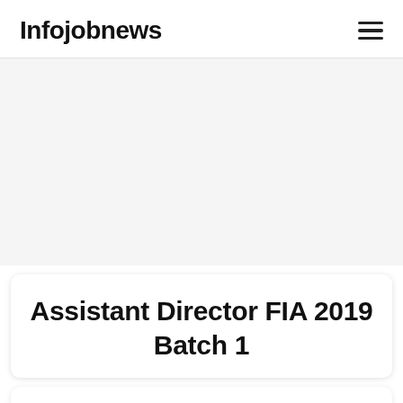Infojobnews
Assistant Director FIA 2019 Batch 1
(61) . Kaleem-Ullah was the title of which